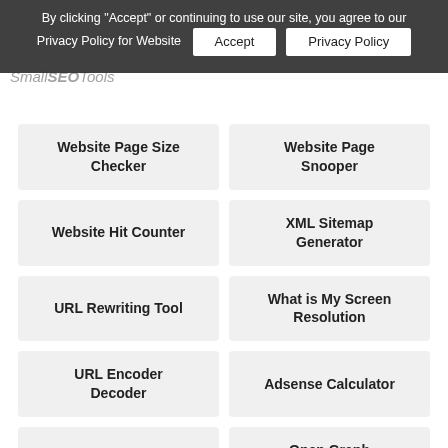By clicking "Accept" or continuing to use our site, you agree to our Privacy Policy for Website | Accept | Privacy Policy
Website Page Size Checker
Website Page Snooper
Website Hit Counter
XML Sitemap Generator
URL Rewriting Tool
What is My Screen Resolution
URL Encoder Decoder
Adsense Calculator
Open Graph Checker
Open Graph Generator
QR Code Generator
Htaccess Redirect Generator
Get HTTP Headers
Twitter Card Generator
Internet Speed Test
Wordpress Theme Detector